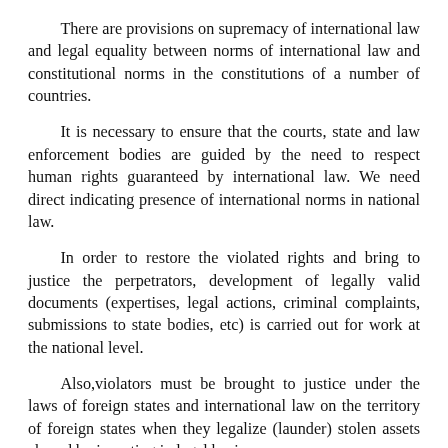There are provisions on supremacy of international law and legal equality between norms of international law and constitutional norms in the constitutions of a number of countries.
It is necessary to ensure that the courts, state and law enforcement bodies are guided by the need to respect human rights guaranteed by international law. We need direct indicating presence of international norms in national law.
In order to restore the violated rights and bring to justice the perpetrators, development of legally valid documents (expertises, legal actions, criminal complaints, submissions to state bodies, etc) is carried out for work at the national level.
Also,violators must be brought to justice under the laws of foreign states and international law on the territory of foreign states when they legalize (launder) stolen assets abroad by investing in legal business.